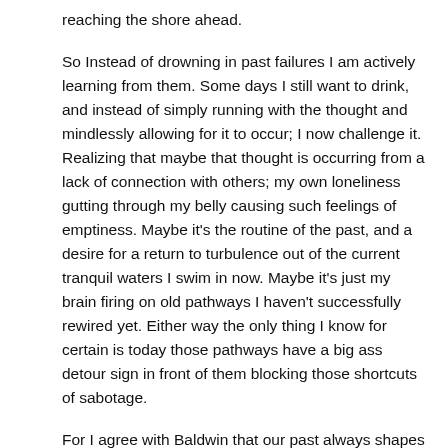reaching the shore ahead.
So Instead of drowning in past failures I am actively learning from them. Some days I still want to drink, and instead of simply running with the thought and mindlessly allowing for it to occur; I now challenge it. Realizing that maybe that thought is occurring from a lack of connection with others; my own loneliness gutting through my belly causing such feelings of emptiness. Maybe it's the routine of the past, and a desire for a return to turbulence out of the current tranquil waters I swim in now. Maybe it's just my brain firing on old pathways I haven't successfully rewired yet. Either way the only thing I know for certain is today those pathways have a big ass detour sign in front of them blocking those shortcuts of sabotage.
For I agree with Baldwin that our past always shapes us, but it never defines us. With our first morning breath we choose which path we will follow today. Our footing as solid, or perilous as we wish for rock solid foundations are only built with time and effort. Each day I am putting in the effort to reshape my future. Each night knowing my past has helped guide the way to this current future. And each day